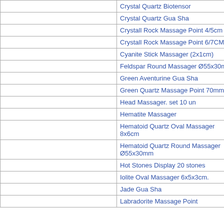|  |  |
| --- | --- |
|  | Crystal Quartz Biotensor |
|  | Crystal Quartz Gua Sha |
|  | Crystall Rock Massage Point 4/5cm |
|  | Crystall Rock Massage Point 6/7CM |
|  | Cyanite Stick Massager (2x1cm) |
|  | Feldspar Round Massager Ø55x30mm |
|  | Green Aventurine Gua Sha |
|  | Green Quartz Massage Point 70mm |
|  | Head Massager. set 10 un |
|  | Hematite Massager |
|  | Hematoid Quartz Oval Massager 8x6cm |
|  | Hematoid Quartz Round Massager Ø55x30mm |
|  | Hot Stones Display 20 stones |
|  | Iolite Oval Massager 6x5x3cm. |
|  | Jade Gua Sha |
|  | Labradorite Massage Point |